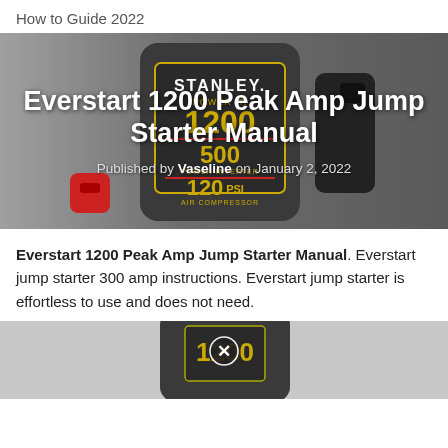How to Guide 2022
[Figure (photo): Stanley Power It jump starter device showing 1200 peak amps, 500W power inverter, 120 PSI air compressor label, with red and black clamps visible]
Everstart 1200 Peak Amp Jump Starter Manual
Published by Vaseline on January 2, 2022
Everstart 1200 Peak Amp Jump Starter Manual. Everstart jump starter 300 amp instructions. Everstart jump starter is effortless to use and does not need.
[Figure (photo): Partial image of a jump starter device at the bottom of the page with an X/close button overlay]